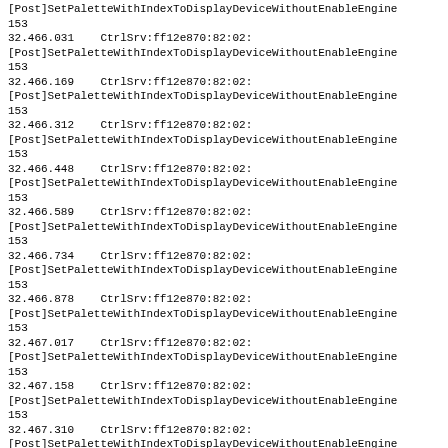[Post]SetPaletteWithIndexToDisplayDeviceWithoutEnableEngine
153
32.466.031    CtrlSrv:ff12e870:82:02:
[Post]SetPaletteWithIndexToDisplayDeviceWithoutEnableEngine
153
32.466.169    CtrlSrv:ff12e870:82:02:
[Post]SetPaletteWithIndexToDisplayDeviceWithoutEnableEngine
153
32.466.312    CtrlSrv:ff12e870:82:02:
[Post]SetPaletteWithIndexToDisplayDeviceWithoutEnableEngine
153
32.466.448    CtrlSrv:ff12e870:82:02:
[Post]SetPaletteWithIndexToDisplayDeviceWithoutEnableEngine
153
32.466.589    CtrlSrv:ff12e870:82:02:
[Post]SetPaletteWithIndexToDisplayDeviceWithoutEnableEngine
153
32.466.734    CtrlSrv:ff12e870:82:02:
[Post]SetPaletteWithIndexToDisplayDeviceWithoutEnableEngine
153
32.466.878    CtrlSrv:ff12e870:82:02:
[Post]SetPaletteWithIndexToDisplayDeviceWithoutEnableEngine
153
32.467.017    CtrlSrv:ff12e870:82:02:
[Post]SetPaletteWithIndexToDisplayDeviceWithoutEnableEngine
153
32.467.158    CtrlSrv:ff12e870:82:02:
[Post]SetPaletteWithIndexToDisplayDeviceWithoutEnableEngine
153
32.467.310    CtrlSrv:ff12e870:82:02:
[Post]SetPaletteWithIndexToDisplayDeviceWithoutEnableEngine
153
32.467.455    CtrlSrv:ff12e870:82:02:
[Post]SetPaletteWithIndexToDisplayDeviceWithoutEnableEngine
153
32.467.599    CtrlSrv:ff12e870:82:02:
[Post]SetPaletteWithIndexToDisplayDeviceWithoutEnableEngine
153
32.467.744    CtrlSrv:ff12e870:82:02:
[Post]SetPaletteWithIndexToDisplayDeviceWithoutEnableEngine
153